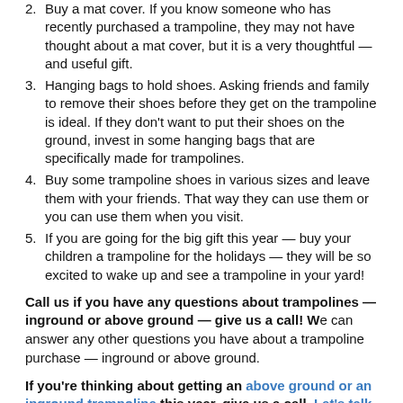2. Buy a mat cover. If you know someone who has recently purchased a trampoline, they may not have thought about a mat cover, but it is a very thoughtful — and useful gift.
3. Hanging bags to hold shoes. Asking friends and family to remove their shoes before they get on the trampoline is ideal. If they don't want to put their shoes on the ground, invest in some hanging bags that are specifically made for trampolines.
4. Buy some trampoline shoes in various sizes and leave them with your friends. That way they can use them or you can use them when you visit.
5. If you are going for the big gift this year — buy your children a trampoline for the holidays — they will be so excited to wake up and see a trampoline in your yard!
Call us if you have any questions about trampolines — inground or above ground — give us a call! We can answer any other questions you have about a trampoline purchase — inground or above ground.
If you're thinking about getting an above ground or an inground trampoline this year, give us a call. Let's talk